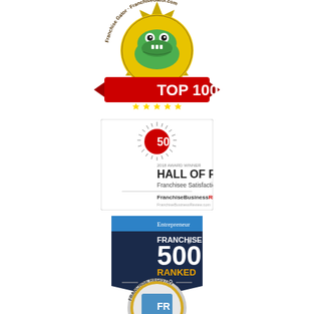[Figure (logo): Franchise Gator Top 100 badge with green alligator mascot on gold/red ribbon seal]
[Figure (logo): FBR Hall of Fame badge - 50 award with sunburst, Hall of Fame Franchisee Satisfaction Awards, FranchiseBusinessREVIEW]
[Figure (logo): Entrepreneur Franchise 500 Ranked 2019 dark navy pennant badge]
[Figure (logo): Franchise Registry FR Verified 2018 silver/gold circular badge]